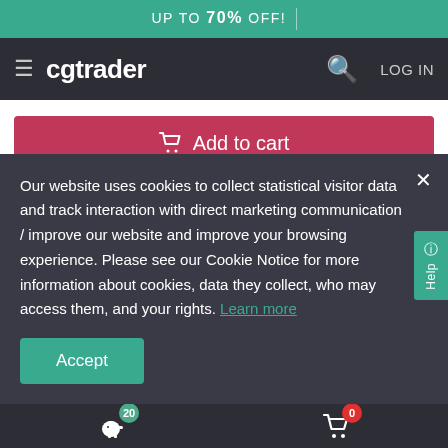UP TO 70% OFF!
cgtrader  LOG IN
Add to cart
-Normal
-Emissive
Our website uses cookies to collect statistical visitor data and track interaction with direct marketing communication / improve our website and improve your browsing experience. Please see our Cookie Notice for more information about cookies, data they collect, who may access them, and your rights. Learn more
Accept